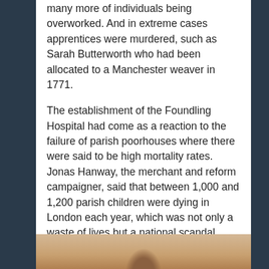many more of individuals being overworked. And in extreme cases apprentices were murdered, such as Sarah Butterworth who had been allocated to a Manchester weaver in 1771.
The establishment of the Foundling Hospital had come as a reaction to the failure of parish poorhouses where there were said to be high mortality rates. Jonas Hanway, the merchant and reform campaigner, said that between 1,000 and 1,200 parish children were dying in London each year, which was not only a waste of lives but a national scandal given that the country was at war. Through the MP for Maidstone, he successfully won approval in parliament for London parishes to keep registers of the infant poor in their care so that mortality could be accurately assessed.
[Figure (photo): Partial view of a historical portrait or photograph, visible at the bottom of the page, showing a figure against a warm toned background.]